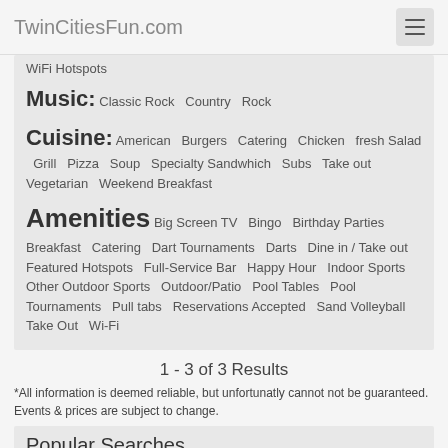TwinCitiesFun.com
WiFi Hotspots
Music: Classic Rock  Country  Rock
Cuisine: American  Burgers  Catering  Chicken  fresh Salad  Grill  Pizza  Soup  Specialty Sandwhich  Subs  Take out  Vegetarian  Weekend Breakfast
Amenities Big Screen TV  Bingo  Birthday Parties  Breakfast  Catering  Dart Tournaments  Darts  Dine in / Take out  Featured Hotspots  Full-Service Bar  Happy Hour  Indoor Sports  Other Outdoor Sports  Outdoor/Patio  Pool Tables  Pool Tournaments  Pull tabs  Reservations Accepted  Sand Volleyball  Take Out  Wi-Fi
1 - 3 of 3 Results
*All information is deemed reliable, but unfortunatly cannot not be guaranteed. Events & prices are subject to change.
Popular Searches